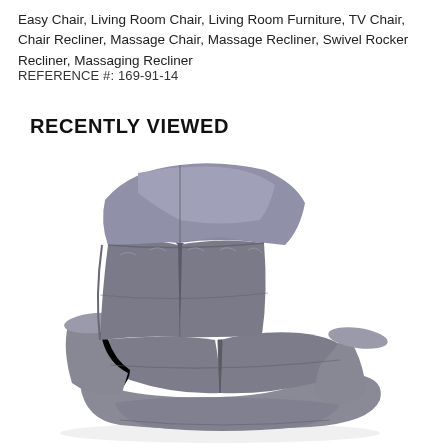Easy Chair, Living Room Chair, Living Room Furniture, TV Chair, Chair Recliner, Massage Chair, Massage Recliner, Swivel Rocker Recliner, Massaging Recliner
REFERENCE #: 169-91-14
RECENTLY VIEWED
[Figure (photo): Gray fabric recliner chair viewed from a slight angle, showing plush cushioned back, seat, and armrests with a contemporary design]